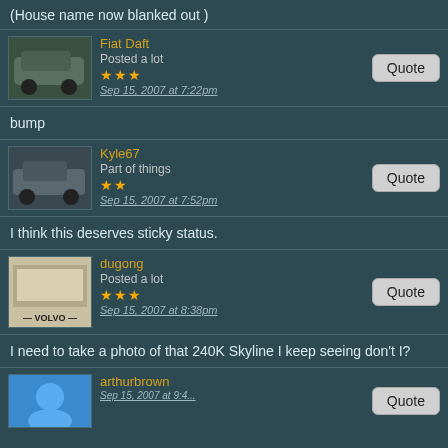(House name now blanked out )
Fiat Daft
Posted a lot
★★★
Sep 15, 2007 at 7:22pm
bump
Kyle67
Part of things
★★
Sep 15, 2007 at 7:52pm
I think this deserves sticky status.
dugong
Posted a lot
★★★
Sep 15, 2007 at 8:38pm
I need to take a photo of that 240K Skyline I keep seeing don't I?
arthurbrown